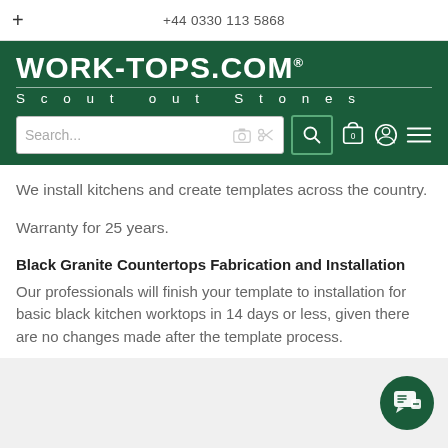+ | +44 0330 113 5868
[Figure (logo): WORK-TOPS.COM logo with tagline 'Scout out Stones' on dark green background with search bar and navigation icons]
We install kitchens and create templates across the country.
Warranty for 25 years.
Black Granite Countertops Fabrication and Installation
Our professionals will finish your template to installation for basic black kitchen worktops in 14 days or less, given there are no changes made after the template process.